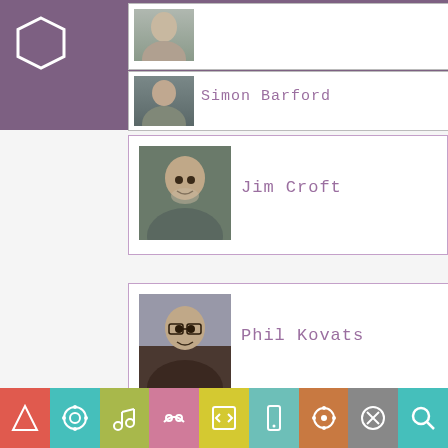Conference programme header with logo and navigation
[Figure (photo): Headshot of Simon Barford, partially visible at top of page]
Simon Barford
[Figure (photo): Headshot of Jim Croft]
Jim Croft
[Figure (photo): Headshot of Phil Kovats with glasses]
Phil Kovats
Audio
VIEW FULL CONFERENCE PROGRAMME
Bottom navigation bar with category icons